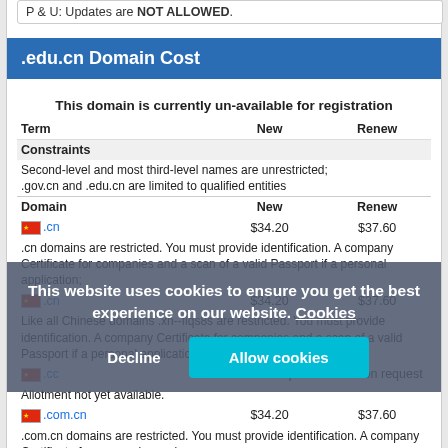P & U: Updates are NOT ALLOWED.
.edu.cn Domain Cost
This domain is currently un-available for registration
| Term | New | Renew |
| --- | --- | --- |
| Constraints |  |  |
| Second-level and most third-level names are unrestricted; .gov.cn and .edu.cn are limited to qualified entities |  |  |
| Domain | New | Renew |
| .cn | $34.20 | $37.60 |
| .cn domains are restricted. You must provide identification. A company Certificate for companies and a scan of a valid Passport if a personal application; |  |  |
| .cn | $34.20 | $37.60 |
| Like all Chinese domains .xn--fiqs8s are restricted. You must provide identification. A company Certificate for companies and a scan of a valid Passport if a personal application; |  |  |
| .cc | Price on request | Price on request |
| Allotment not yet available. |  |  |
| .com.cn | $34.20 | $37.60 |
| .com.cn domains are restricted. You must provide identification. A company Certificate for companies and a |  |  |
This website uses cookies to ensure you get the best experience on our website. Cookies
Decline
Allow cookies